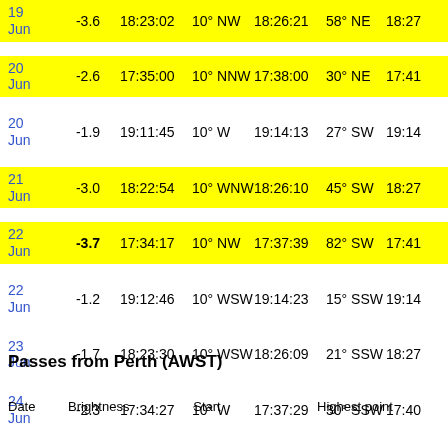| Date | Brightness | Start |  | Highest point |  |  |
| --- | --- | --- | --- | --- | --- | --- |
| 19 Jun | -3.6 | 18:23:02 | 10° NW | 18:26:21 | 58° NE | 18:27 |
| 20 Jun | -2.6 | 17:35:00 | 10° NNW | 17:38:00 | 30° NE | 17:41 |
| 20 Jun | -1.9 | 19:11:45 | 10° W | 19:14:13 | 27° SW | 19:14 |
| 21 Jun | -3.0 | 18:22:54 | 10° WNW | 18:26:10 | 45° SW | 18:27 |
| 22 Jun | -3.7 | 17:34:17 | 10° NW | 17:37:39 | 82° SW | 17:41 |
| 22 Jun | -1.2 | 19:12:46 | 10° WSW | 19:14:23 | 15° SSW | 19:14 |
| 23 Jun | -1.7 | 18:23:30 | 10° WSW | 18:26:09 | 21° SSW | 18:27 |
| 24 Jun | -2.3 | 17:34:27 | 10° W | 17:37:29 | 30° SSW | 17:40 |
Passes from Perth (AWST)
| Date | Brightness | Start | Highest point |
| --- | --- | --- | --- |